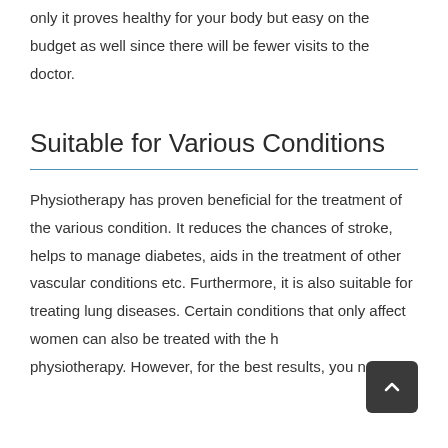only it proves healthy for your body but easy on the budget as well since there will be fewer visits to the doctor.
Suitable for Various Conditions
Physiotherapy has proven beneficial for the treatment of the various condition. It reduces the chances of stroke, helps to manage diabetes, aids in the treatment of other vascular conditions etc. Furthermore, it is also suitable for treating lung diseases. Certain conditions that only affect women can also be treated with the help of physiotherapy. However, for the best results, you need